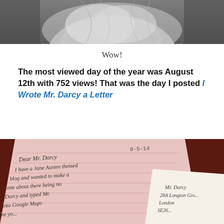[Figure (photo): Black and white photo of a woman in white dress, cropped at top of page]
Wow!
The most viewed day of the year was August 12th with 752 views! That was the day I posted I Wrote Mr. Darcy a Letter
[Figure (photo): Photo of a handwritten letter on pink lined paper addressed to Mr. Darcy, dated 8-5-14, with text about a Jane Austen themed blog, placed on a dark red surface next to an envelope addressed to Mr. Darcy, 28A Longton Grove, London SE26]